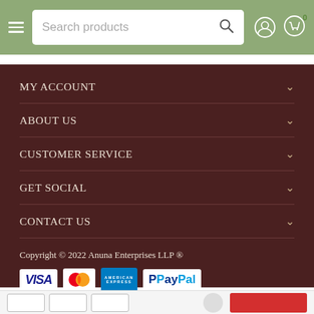Search products header bar with hamburger menu, search box, user icon, and cart icon (badge: 0)
MY ACCOUNT
ABOUT US
CUSTOMER SERVICE
GET SOCIAL
CONTACT US
Copyright © 2022 Anuna Enterprises LLP ®
[Figure (logo): Payment method logos: VISA, Mastercard, American Express, PayPal]
Bottom navigation bar with outline buttons and red button